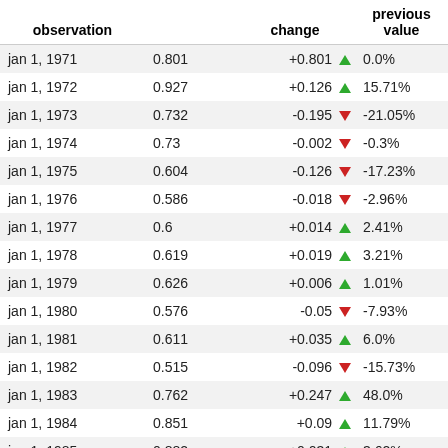| observation |  | change | previous value |
| --- | --- | --- | --- |
| jan 1, 1971 | 0.801 | +0.801 ▲ | 0.0% |
| jan 1, 1972 | 0.927 | +0.126 ▲ | 15.71% |
| jan 1, 1973 | 0.732 | -0.195 ▼ | -21.05% |
| jan 1, 1974 | 0.73 | -0.002 ▼ | -0.3% |
| jan 1, 1975 | 0.604 | -0.126 ▼ | -17.23% |
| jan 1, 1976 | 0.586 | -0.018 ▼ | -2.96% |
| jan 1, 1977 | 0.6 | +0.014 ▲ | 2.41% |
| jan 1, 1978 | 0.619 | +0.019 ▲ | 3.21% |
| jan 1, 1979 | 0.626 | +0.006 ▲ | 1.01% |
| jan 1, 1980 | 0.576 | -0.05 ▼ | -7.93% |
| jan 1, 1981 | 0.611 | +0.035 ▲ | 6.0% |
| jan 1, 1982 | 0.515 | -0.096 ▼ | -15.73% |
| jan 1, 1983 | 0.762 | +0.247 ▲ | 48.0% |
| jan 1, 1984 | 0.851 | +0.09 ▲ | 11.79% |
| jan 1, 1985 | 0.882 | +0.031 ▲ | 3.62% |
| jan 1, 1986 | 0.88 | -0.002 ▼ | -0.28% |